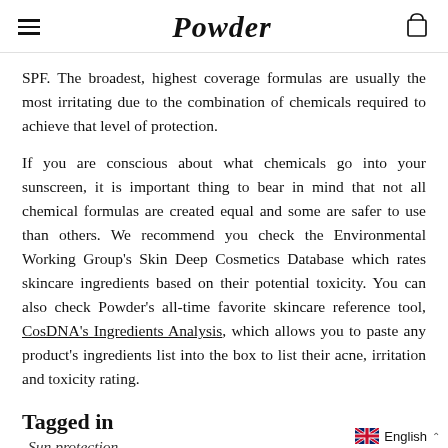Powder
SPF. The broadest, highest coverage formulas are usually the most irritating due to the combination of chemicals required to achieve that level of protection.
If you are conscious about what chemicals go into your sunscreen, it is important thing to bear in mind that not all chemical formulas are created equal and some are safer to use than others. We recommend you check the Environmental Working Group's Skin Deep Cosmetics Database which rates skincare ingredients based on their potential toxicity. You can also check Powder's all-time favorite skincare reference tool, CosDNA's Ingredients Analysis, which allows you to paste any product's ingredients list into the box to list their acne, irritation and toxicity rating.
Tagged in
Sun protection
English